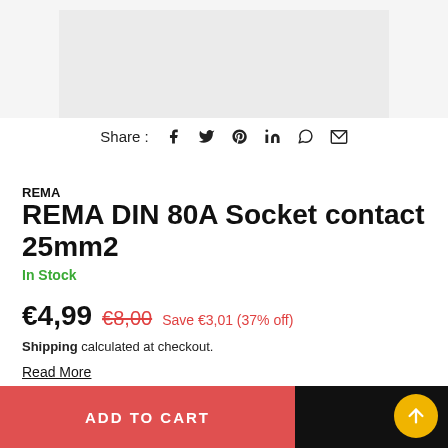[Figure (photo): Product image area showing REMA DIN 80A Socket contact, light gray background]
Share : [facebook] [twitter] [pinterest] [linkedin] [whatsapp] [email]
REMA
REMA DIN 80A Socket contact 25mm2
In Stock
€4,99  €8,00  Save €3,01 (37% off)
Shipping calculated at checkout.
Read More
Delivery & Returns   Enquiry
ADD TO CART